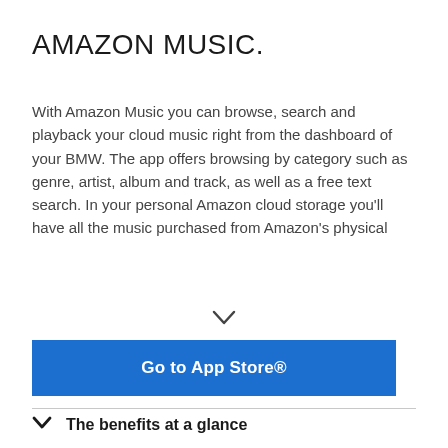AMAZON MUSIC.
With Amazon Music you can browse, search and playback your cloud music right from the dashboard of your BMW. The app offers browsing by category such as genre, artist, album and track, as well as a free text search. In your personal Amazon cloud storage you’ll have all the music purchased from Amazon’s physical
[Figure (other): Chevron/down arrow icon indicating expandable content]
Go to App Store®
The benefits at a glance